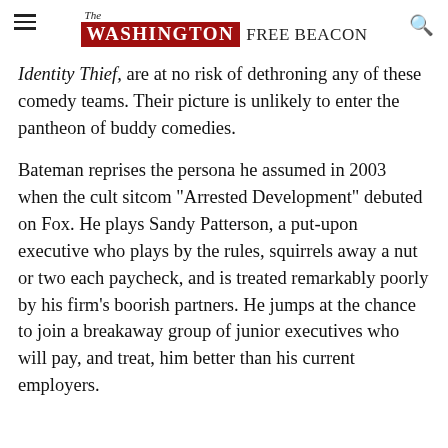The Washington Free Beacon
Identity Thief, are at no risk of dethroning any of these comedy teams. Their picture is unlikely to enter the pantheon of buddy comedies.
Bateman reprises the persona he assumed in 2003 when the cult sitcom "Arrested Development" debuted on Fox. He plays Sandy Patterson, a put-upon executive who plays by the rules, squirrels away a nut or two each paycheck, and is treated remarkably poorly by his firm's boorish partners. He jumps at the chance to join a breakaway group of junior executives who will pay, and treat, him better than his current employers.